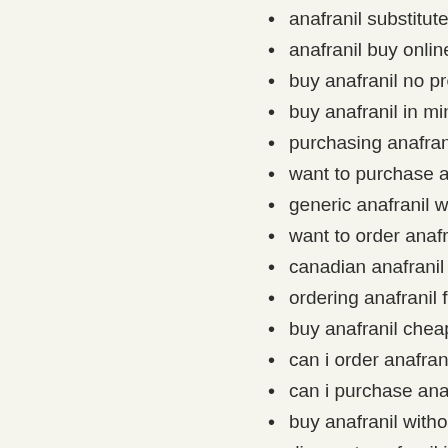anafranil substitute generic
anafranil buy online overseas
buy anafranil no prescription
buy anafranil in minneapolis
purchasing anafranil price
want to purchase anafranil
generic anafranil without rx
want to order anafranil
canadian anafranil cod sales
ordering anafranil free saturo
buy anafranil cheap us
can i order anafranil
can i purchase anafranil
buy anafranil without a rx
discount anafranil in baltimo
how to order anafranil
cheap india anafranil
buy anafranil us pharmacy
can i buy anafranil
online anafranil to buy